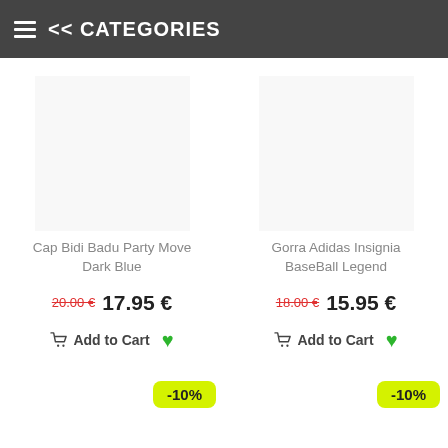<< CATEGORIES
Cap Bidi Badu Party Move Dark Blue
20.00 € 17.95 €
Add to Cart
-10%
Gorra Adidas Insignia BaseBall Legend
18.00 € 15.95 €
Add to Cart
-10%